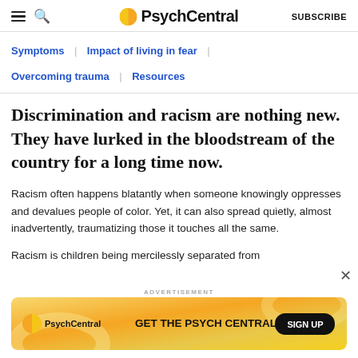PsychCentral — SUBSCRIBE
Symptoms | Impact of living in fear | Overcoming trauma | Resources
Discrimination and racism are nothing new. They have lurked in the bloodstream of the country for a long time now.
Racism often happens blatantly when someone knowingly oppresses and devalues people of color. Yet, it can also spread quietly, almost inadvertently, traumatizing those it touches all the same.
Racism is children being mercilessly separated from
[Figure (screenshot): PsychCentral advertisement banner: orange/yellow gradient background with PsychCentral logo, text 'GET THE PSYCH CENTRAL', and a 'SIGN UP' button]